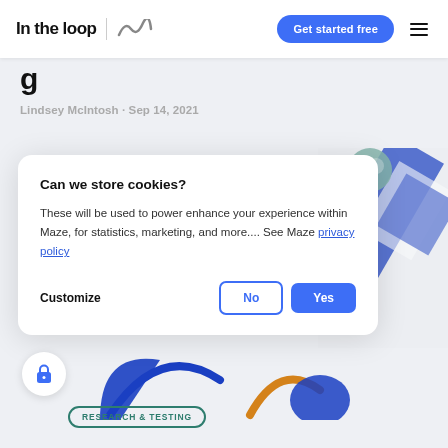In the loop | [Maze logo] Get started free [menu]
g
Lindsey McIntosh · Sep 14, 2021
[Figure (illustration): Decorative illustration with blue geometric shapes, circles, and lines on a light background]
Can we store cookies?

These will be used to power enhance your experience within Maze, for statistics, marketing, and more.... See Maze privacy policy

Customize  No  Yes